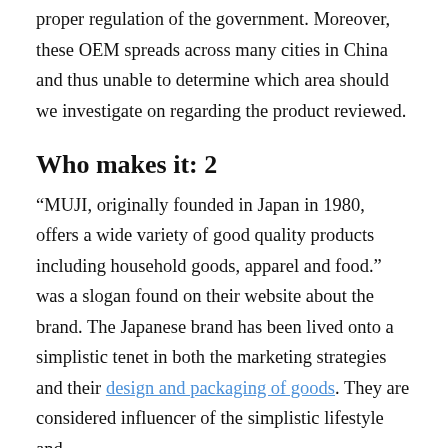proper regulation of the government. Moreover, these OEM spreads across many cities in China and thus unable to determine which area should we investigate on regarding the product reviewed.
Who makes it: 2
“MUJI, originally founded in Japan in 1980, offers a wide variety of good quality products including household goods, apparel and food.” was a slogan found on their website about the brand. The Japanese brand has been lived onto a simplistic tenet in both the marketing strategies and their design and packaging of goods. They are considered influencer of the simplistic lifestyle and